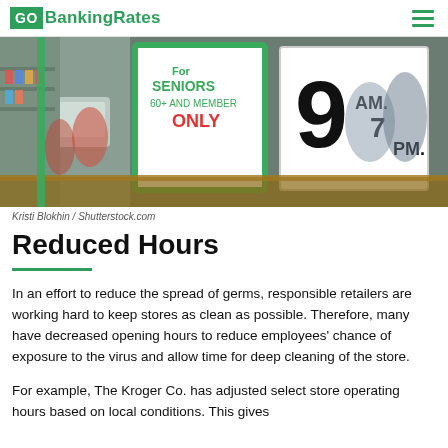GOBankingRates
[Figure (photo): Store window showing signs for seniors 60+ and members only hours, 9 AM - 7 PM, with shoppers visible inside.]
Kristi Blokhin / Shutterstock.com
Reduced Hours
In an effort to reduce the spread of germs, responsible retailers are working hard to keep stores as clean as possible. Therefore, many have decreased opening hours to reduce employees' chance of exposure to the virus and allow time for deep cleaning of the store.
For example, The Kroger Co. has adjusted select store operating hours based on local conditions. This gives